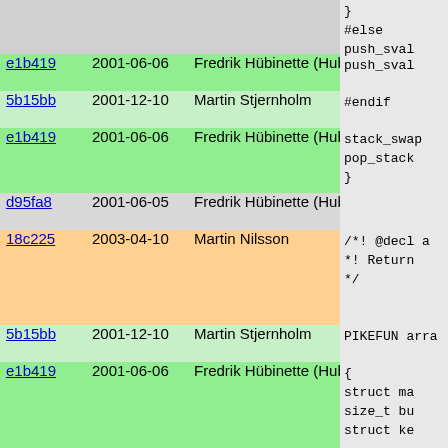| hash | date | author | bar | code |
| --- | --- | --- | --- | --- |
|  |  |  |  | }
#else
    push_sval |
| e1b419 | 2001-06-06 | Fredrik Hübinette (Hubbe) | | | push_sval |
| 5b15bb | 2001-12-10 | Martin Stjernholm |  | #endif |
| e1b419 | 2001-06-06 | Fredrik Hübinette (Hubbe) | | | stack_swap
 pop_stack
} |
| d95fa8 | 2001-06-05 | Fredrik Hübinette (Hubbe) |  |  |
| 18c225 | 2003-04-10 | Martin Nilsson | | | /*! @decl a
 *!   Return
 */ |
| 5b15bb | 2001-12-10 | Martin Stjernholm |  | PIKEFUN arra |
| e1b419 | 2001-06-06 | Fredrik Hübinette (Hubbe) |  | {
  struct ma
  size_t bu
  struct ke

  if(!m_siz
    SIMPLE_

  /* Find a
  bucket=my
  while(! m
    if(++bu
    bucket |